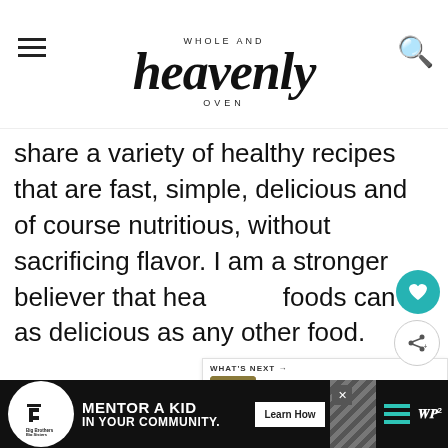WHOLE AND heavenly OVEN
share a variety of healthy recipes that are fast, simple, delicious and of course nutritious, without sacrificing flavor. I am a stronger believer that healthy foods can be as delicious as any other food.
[Figure (screenshot): What's Next box showing Butternut Squash Turk... with a thumbnail image of a salad]
[Figure (photo): A bowl of tomato-based soup/stew with vegetables, garnished with cilantro leaves in the background]
[Figure (screenshot): Advertisement banner: Big Brothers Big Sisters - MENTOR A KID IN YOUR COMMUNITY with Learn How button]